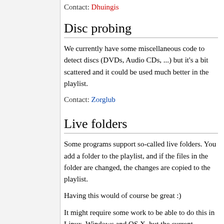Contact: Dhuingis
Disc probing
We currently have some miscellaneous code to detect discs (DVDs, Audio CDs, ...) but it's a bit scattered and it could be used much better in the playlist.
Contact: Zorglub
Live folders
Some programs support so-called live folders. You add a folder to the playlist, and if the files in the folder are changed, the changes are copied to the playlist.
Having this would of course be great :)
It might require some work to be able to do this in Linux, Windows and OS X, but the current developers will of course be able to help on those.